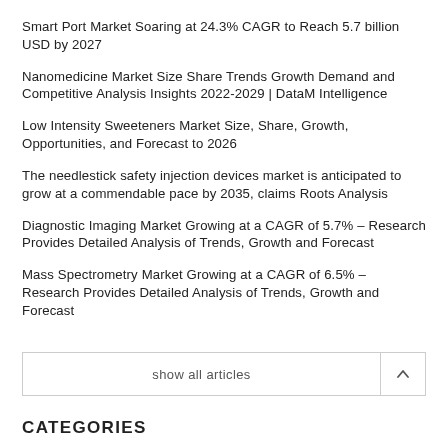Smart Port Market Soaring at 24.3% CAGR to Reach 5.7 billion USD by 2027
Nanomedicine Market Size Share Trends Growth Demand and Competitive Analysis Insights 2022-2029 | DataM Intelligence
Low Intensity Sweeteners Market Size, Share, Growth, Opportunities, and Forecast to 2026
The needlestick safety injection devices market is anticipated to grow at a commendable pace by 2035, claims Roots Analysis
Diagnostic Imaging Market Growing at a CAGR of 5.7% – Research Provides Detailed Analysis of Trends, Growth and Forecast
Mass Spectrometry Market Growing at a CAGR of 6.5% – Research Provides Detailed Analysis of Trends, Growth and Forecast
show all articles
CATEGORIES